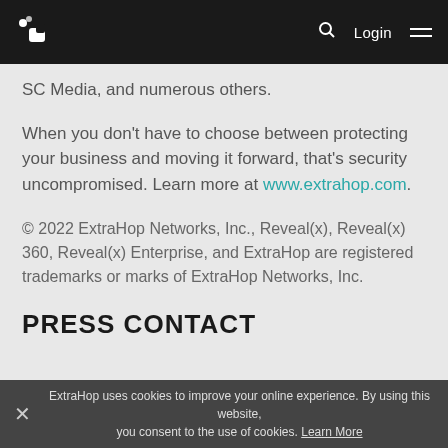ExtraHop logo nav bar with Login and search
SC Media, and numerous others.
When you don't have to choose between protecting your business and moving it forward, that's security uncompromised. Learn more at www.extrahop.com.
© 2022 ExtraHop Networks, Inc., Reveal(x), Reveal(x) 360, Reveal(x) Enterprise, and ExtraHop are registered trademarks or marks of ExtraHop Networks, Inc.
PRESS CONTACT
ExtraHop uses cookies to improve your online experience. By using this website, you consent to the use of cookies. Learn More